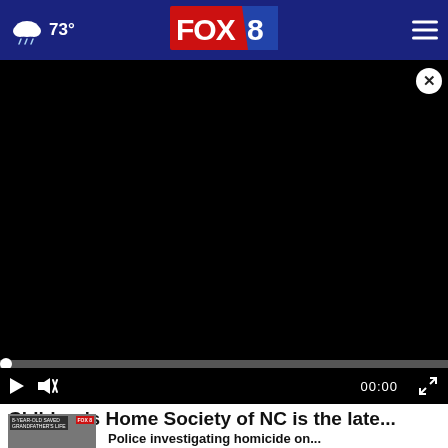FOX 8 — 73° weather header with navigation
[Figure (screenshot): Black video player area with close button, progress bar, and playback controls showing 00:00 timestamp]
Children's Home Society of NC is the late...
[Figure (screenshot): Thumbnail image with label '8-YEAR-OLD SAVED GRANDFATHER'S LIFE' and FOX8 logo]
Police investigating homicide on...